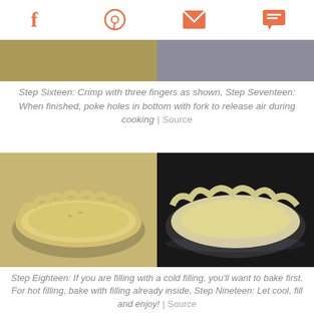Social share icons: Facebook, Pinterest, Email, Comment
[Figure (photo): Top cropped photo strip showing pie crust preparation]
Step Sixteen: Crimp with three fingers as shown, Step Seventeen: When finished, poke holes in bottom with fork to release air during cooking | Source
[Figure (photo): Two side-by-side photos of crimped pie crusts in pie dishes — left on countertop, right on dark surface]
Step Eighteen: If you are filling with a cold filling, you'll want to bake first. For hot filling, bake with filling already inside, Step Nineteen: Let cool, fill and enjoy! | Source